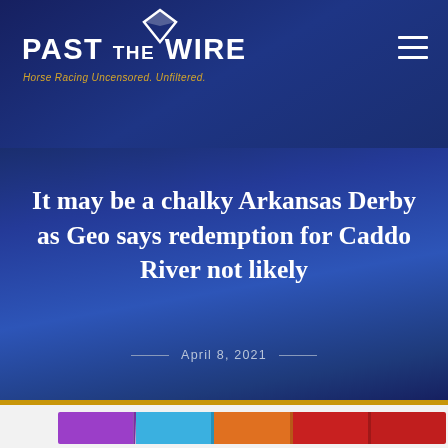PAST THE WIRE — Horse Racing Uncensored. Unfiltered.
It may be a chalky Arkansas Derby as Geo says redemption for Caddo River not likely
— April 8, 2021 —
[Figure (illustration): Colorful NFT-style banner showing stylized jockey helmet figures against vibrant purple, teal, orange, and red backgrounds]